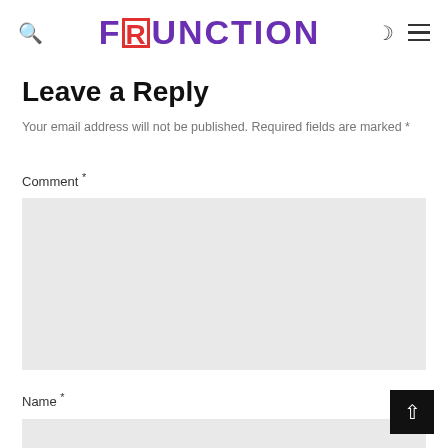F[R]UNCTION
Leave a Reply
Your email address will not be published. Required fields are marked *
Comment *
Name *